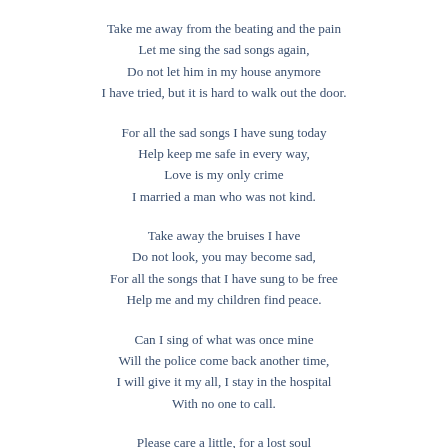Take me away from the beating and the pain
Let me sing the sad songs again,
Do not let him in my house anymore
I have tried, but it is hard to walk out the door.
For all the sad songs I have sung today
Help keep me safe in every way,
Love is my only crime
I married a man who was not kind.
Take away the bruises I have
Do not look, you may become sad,
For all the songs that I have sung to be free
Help me and my children find peace.
Can I sing of what was once mine
Will the police come back another time,
I will give it my all, I stay in the hospital
With no one to call.
Please care a little, for a lost soul